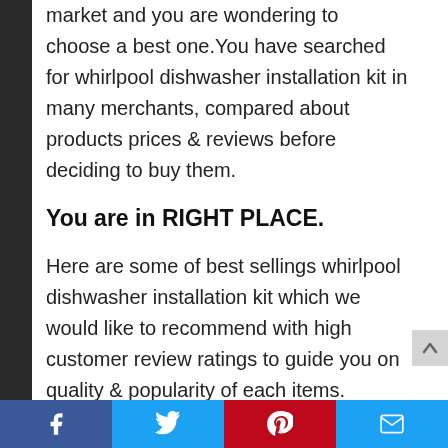market and you are wondering to choose a best one. You have searched for whirlpool dishwasher installation kit in many merchants, compared about products prices & reviews before deciding to buy them.
You are in RIGHT PLACE.
Here are some of best sellings whirlpool dishwasher installation kit which we would like to recommend with high customer review ratings to guide you on quality & popularity of each items.
915 reviews analysed
Facebook | Twitter | Pinterest | Email